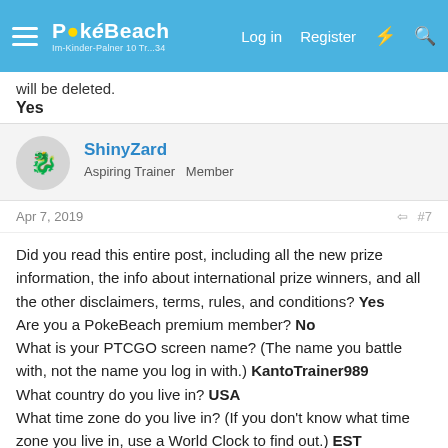PokéBeach — Log in  Register
will be deleted.
Yes
ShinyZard
Aspiring Trainer  Member
Apr 7, 2019  #7
Did you read this entire post, including all the new prize information, the info about international prize winners, and all the other disclaimers, terms, rules, and conditions? Yes
Are you a PokeBeach premium member? No
What is your PTCGO screen name? (The name you battle with, not the name you log in with.) KantoTrainer989
What country do you live in? USA
What time zone do you live in? (If you don't know what time zone you live in, use a World Clock to find out.) EST
Did you play in last month's tournament? No
If allowed to play, do you promise to make at least three non-